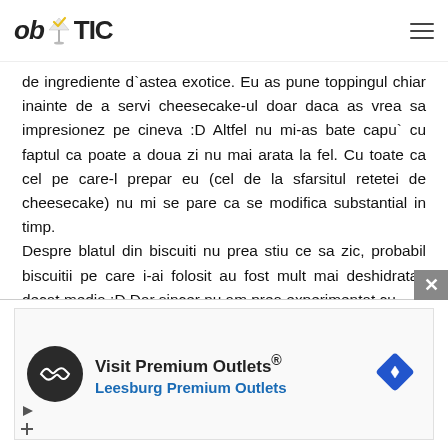obYTIC
de ingrediente d`astea exotice. Eu as pune toppingul chiar inainte de a servi cheesecake-ul doar daca as vrea sa impresionez pe cineva :D Altfel nu mi-as bate capu` cu faptul ca poate a doua zi nu mai arata la fel. Cu toate ca cel pe care-l prepar eu (cel de la sfarsitul retetei de cheesecake) nu mi se pare ca se modifica substantial in timp.
Despre blatul din biscuiti nu prea stiu ce sa zic, probabil biscuitii pe care i-ai folosit au fost mult mai deshidratati decat media :D Dar sincer nu am prea experimentat cu blaturile din biscuiti.
[Figure (infographic): Advertisement banner for Visit Premium Outlets / Leesburg Premium Outlets with circular logo, navigation icon, and ad controls]